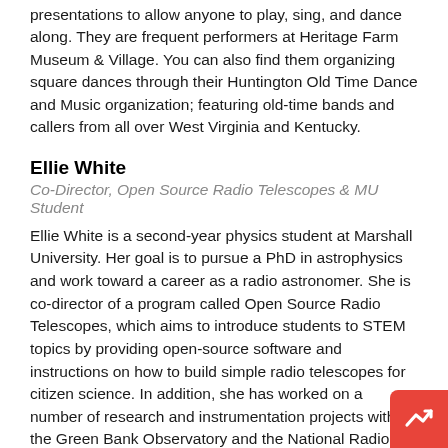presentations to allow anyone to play, sing, and dance along. They are frequent performers at Heritage Farm Museum & Village. You can also find them organizing square dances through their Huntington Old Time Dance and Music organization; featuring old-time bands and callers from all over West Virginia and Kentucky.
Ellie White
Co-Director, Open Source Radio Telescopes & MU Student
Ellie White is a second-year physics student at Marshall University. Her goal is to pursue a PhD in astrophysics and work toward a career as a radio astronomer. She is co-director of a program called Open Source Radio Telescopes, which aims to introduce students to STEM topics by providing open-source software and instructions on how to build simple radio telescopes for citizen science. In addition, she has worked on a number of research and instrumentation projects with the Green Bank Observatory and the National Radio Astronomy Observatory's Central Development Laboratory. She is particularly fascinated by the fields of astrobiology and SETI (the Search for Extraterrestrial Intelligence) and enjoys communicating her love of science with others and interac